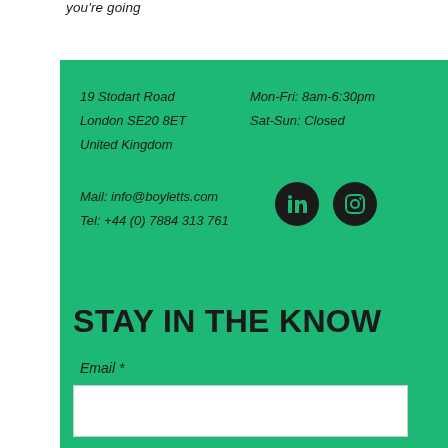you're going
19 Stodart Road
London SE20 8ET
United Kingdom
Mon-Fri: 8am-6:30pm
Sat-Sun: Closed
Mail: info@boyletts.com
Tel: +44 (0) 7884 313 761
[Figure (logo): LinkedIn and Instagram social media icons as dark circles on green background]
STAY IN THE KNOW
Email *